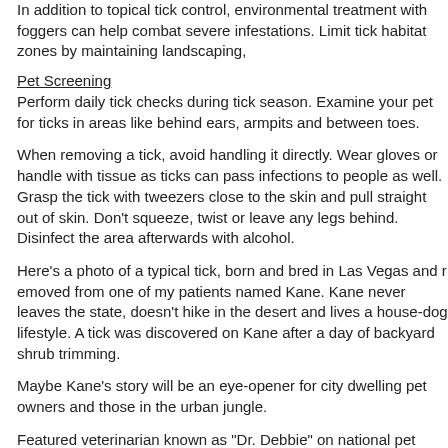In addition to topical tick control, environmental treatment with foggers can help combat severe infestations. Limit tick habitat zones by maintaining landscaping,
Pet Screening
Perform daily tick checks during tick season. Examine your pet for ticks in areas like behind ears, armpits and between toes.
When removing a tick, avoid handling it directly. Wear gloves or handle with tissue as ticks can pass infections to people as well. Grasp the tick with tweezers close to the skin and pull straight out of skin. Don't squeeze, twist or leave any legs behind. Disinfect the area afterwards with alcohol.
Here's a photo of a typical tick, born and bred in Las Vegas and removed from one of my patients named Kane. Kane never leaves the state, doesn't hike in the desert and lives a house-dog lifestyle. A tick was discovered on Kane after a day of backyard shrub trimming.
Maybe Kane's story will be an eye-opener for city dwelling pet owners about dangers in the urban jungle.
Featured veterinarian known as "Dr. Debbie" on national pet radio show, author of "How to Be Your Dog's Best Friend"; "Pugs: How to Be Your Dog's Best Friend" and "Shih Tzu: How to Be Your Dog's Best Friend." Dr. Debbie's books
Visit Website